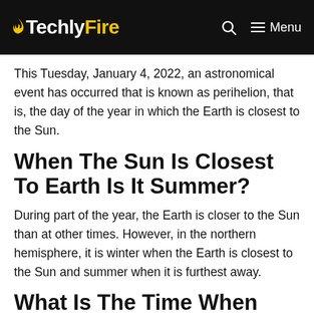TechlyFire — Menu
This Tuesday, January 4, 2022, an astronomical event has occurred that is known as perihelion, that is, the day of the year in which the Earth is closest to the Sun.
When The Sun Is Closest To Earth Is It Summer?
During part of the year, the Earth is closer to the Sun than at other times. However, in the northern hemisphere, it is winter when the Earth is closest to the Sun and summer when it is furthest away.
What Is The Time When The